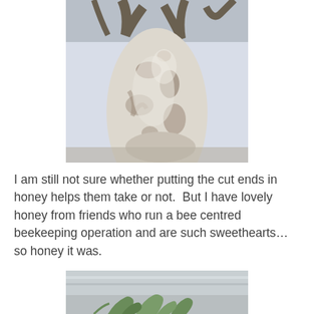[Figure (photo): Upward-looking photograph of a large tree with pale, mottled white and brown bark, branches spreading overhead against a bright sky.]
I am still not sure whether putting the cut ends in honey helps them take or not.  But I have lovely honey from friends who run a bee centred beekeeping operation and are such sweethearts… so honey it was.
[Figure (photo): Partial photograph showing a silver metallic surface with green leafy plant cuttings visible at the bottom edge.]